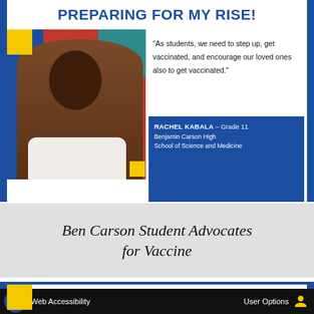PREPARING FOR MY RISE!
[Figure (photo): Portrait photo of Rachel Kabala, a young woman with braids, smiling, against a colorful background of blue, red, and teal.]
"As students, we need to step up, get vaccinated, and encourage our loved ones also to get vaccinated."
RACHEL KABALA – Grade 11
Benjamin Carson High
School of Science and Medicine
Ben Carson Student Advocates for Vaccine
PREPARING FOR MY RISE!
"As an aspiring medical professional
Web Accessibility    User Options